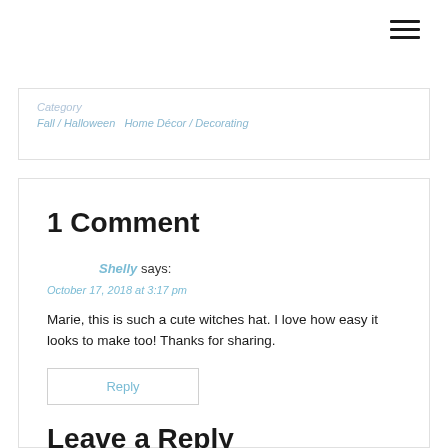[Figure (other): Hamburger menu icon (three horizontal lines) in top right corner]
Category   Fall / Halloween   Home Décor / Decorating
1 Comment
Shelly says:
October 17, 2018 at 3:17 pm
Marie, this is such a cute witches hat. I love how easy it looks to make too! Thanks for sharing.
Reply
Leave a Reply